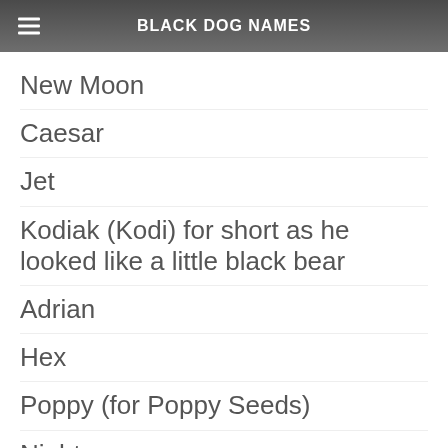BLACK DOG NAMES
New Moon
Caesar
Jet
Kodiak (Kodi) for short as he looked like a little black bear
Adrian
Hex
Poppy (for Poppy Seeds)
Night
Gamina
Balckt...